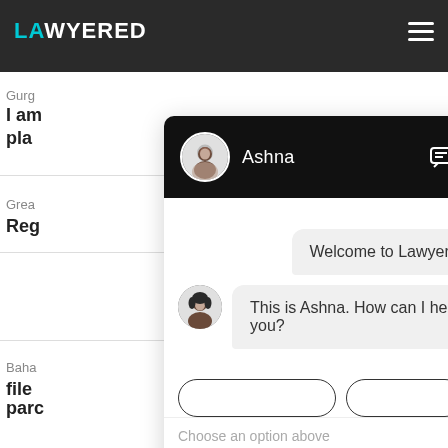[Figure (screenshot): Screenshot of Lawyered website with a live chat widget open. The chat header shows 'Ashna' with a profile photo on a black background with a chat icon and close (X) button. The chat shows two messages: 'Welcome to Lawyered!' and 'This is Ashna. How can I help you?' with a small avatar, followed by option buttons, a 'Choose an option above' placeholder text, and attachment/emoji icons at the bottom.]